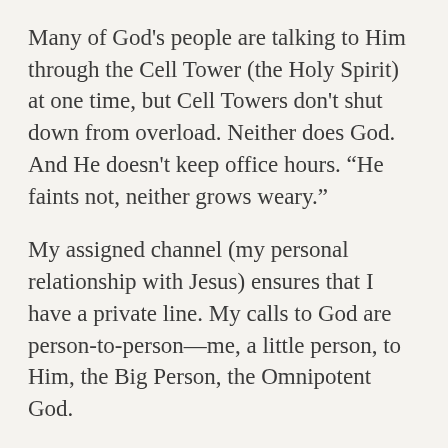Many of God's people are talking to Him through the Cell Tower (the Holy Spirit) at one time, but Cell Towers don't shut down from overload. Neither does God. And He doesn't keep office hours. “He faints not, neither grows weary.”
My assigned channel (my personal relationship with Jesus) ensures that I have a private line. My calls to God are person-to-person—me, a little person, to Him, the Big Person, the Omnipotent God.
I can be mobile, walking, driving, or traveling across the world, but if I’m in right proximity, in range (in right relationship with God) to the Cell Tower, I’m connected. Space and time are irrelevant to the Divine Cell Tower. Little bars